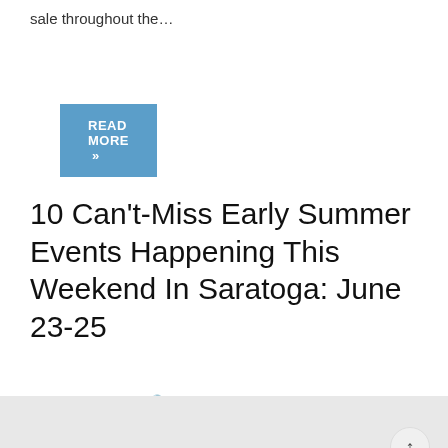sale throughout the...
READ MORE »
10 Can't-Miss Early Summer Events Happening This Weekend In Saratoga: June 23-25
JOE LEGAULT / JUNE 21, 2017
[Figure (photo): Aerial view of a large outdoor summer event with crowds of people sitting on a lawn with colorful umbrellas and blankets, trees in background]